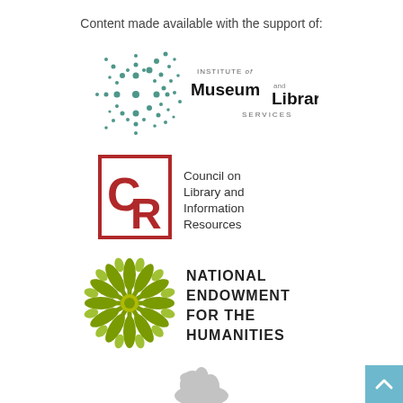Content made available with the support of:
[Figure (logo): Institute of Museum and Library Services logo with teal dot pattern and bold text]
[Figure (logo): Council on Library and Information Resources (CLIR) logo with red square border and CR letters]
[Figure (logo): National Endowment for the Humanities logo with olive green sunflower/pinwheel design and bold uppercase text]
[Figure (logo): Partial logo at bottom of page, appears to be a lion or similar animal illustration]